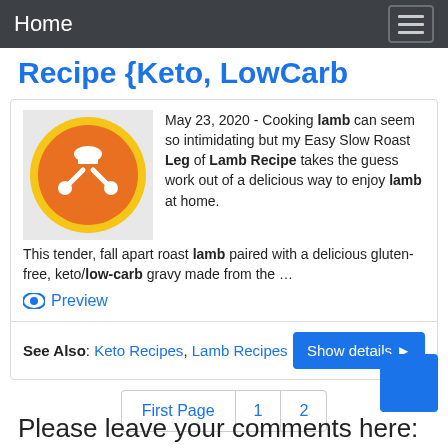Home
Recipe {Keto, LowCarb
May 23, 2020 - Cooking lamb can seem so intimidating but my Easy Slow Roast Leg of Lamb Recipe takes the guess work out of a delicious way to enjoy lamb at home. This tender, fall apart roast lamb paired with a delicious gluten-free, keto/low-carb gravy made from the …
Preview
See Also: Keto Recipes, Lamb Recipes
First Page 1 2
Please leave your comments here: